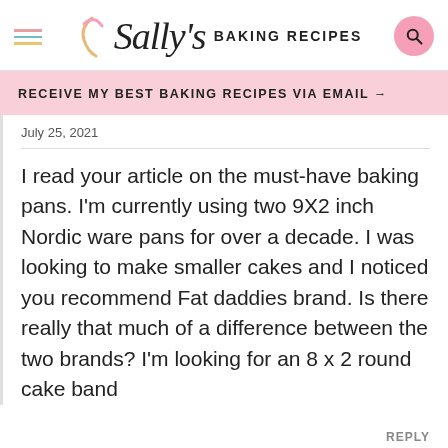Sally's Baking Recipes
RECEIVE MY BEST BAKING RECIPES VIA EMAIL →
July 25, 2021
I read your article on the must-have baking pans. I'm currently using two 9X2 inch Nordic ware pans for over a decade. I was looking to make smaller cakes and I noticed you recommend Fat daddies brand. Is there really that much of a difference between the two brands? I'm looking for an 8 x 2 round cake band
REPLY